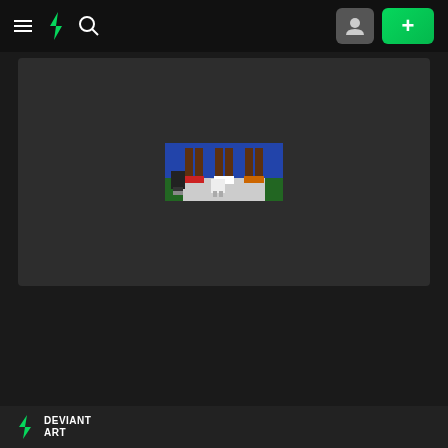DeviantArt navigation bar with hamburger menu, logo, search icon, profile button, and add button
[Figure (screenshot): DeviantArt website screenshot showing a dark-themed page with a small pixel art illustration centered in a dark gray content area. The pixel art shows legs/feet of characters standing on a gray/green surface with a blue background, resembling a sports/game scene.]
DEVIANT ART logo in footer